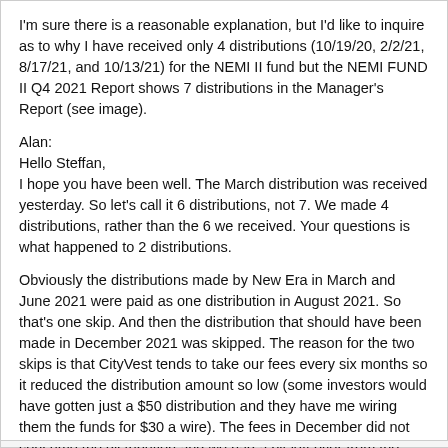I'm sure there is a reasonable explanation, but I'd like to inquire as to why I have received only 4 distributions (10/19/20, 2/2/21, 8/17/21, and 10/13/21) for the NEMI II fund but the NEMI FUND II Q4 2021 Report shows 7 distributions in the Manager's Report (see image).
Alan:
Hello Steffan,
I hope you have been well. The March distribution was received yesterday. So let's call it 6 distributions, not 7. We made 4 distributions, rather than the 6 we received. Your questions is what happened to 2 distributions.
Obviously the distributions made by New Era in March and June 2021 were paid as one distribution in August 2021. So that's one skip. And then the distribution that should have been made in December 2021 was skipped. The reason for the two skips is that CityVest tends to take our fees every six months so it reduced the distribution amount so low (some investors would have gotten just a $50 distribution and they have me wiring them the funds for $30 a wire). The fees in December did not consume the distribution and we had a bit left over from the December distribution, so this March distribution you should be getting around $420, which is an annualized 3.4%